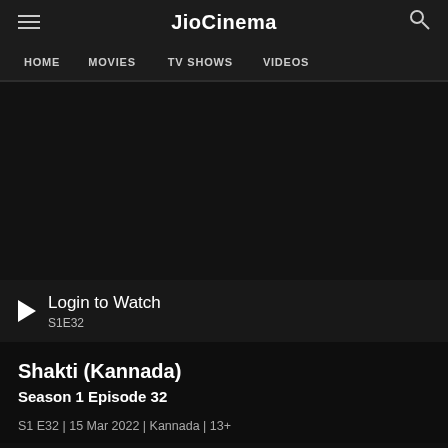JioCinema
HOME  MOVIES  TV SHOWS  VIDEOS
[Figure (screenshot): Dark video player area showing a black/dark screen with a play button and 'Login to Watch' text overlay and episode label S1E32]
Login to Watch
S1E32
Shakti (Kannada)
Season 1 Episode 32
S1 E32 | 15 Mar 2022 | Kannada | 13+